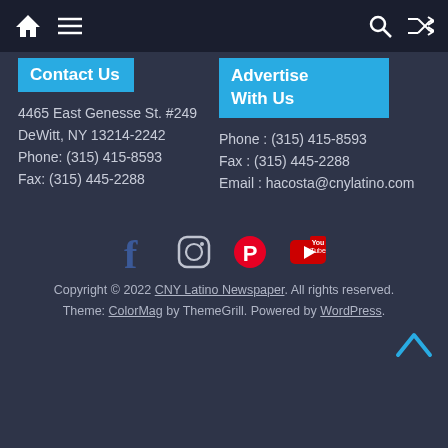Navigation bar with home, menu, search, and shuffle icons
Contact Us
Advertise With Us
4465 East Genesse St. #249
DeWitt, NY 13214-2242
Phone: (315) 415-8593
Fax: (315) 445-2288
Phone : (315) 415-8593
Fax : (315) 445-2288
Email : hacosta@cnylatino.com
[Figure (infographic): Social media icons: Facebook, Instagram, Pinterest, YouTube]
Copyright © 2022 CNY Latino Newspaper. All rights reserved.
Theme: ColorMag by ThemeGrill. Powered by WordPress.